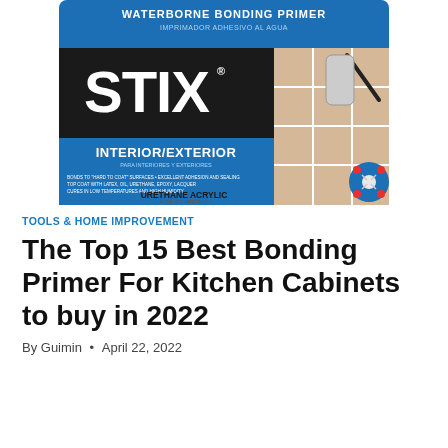[Figure (photo): Product photo of Stix Waterborne Bonding Primer container — a white can with blue label showing 'STIX WATERBORNE BONDING PRIMER / INTERIOR/EXTERIOR / URETHANE ACRYLIC' and an image of a paint roller on tiles.]
TOOLS & HOME IMPROVEMENT
The Top 15 Best Bonding Primer For Kitchen Cabinets to buy in 2022
By Guimin • April 22, 2022